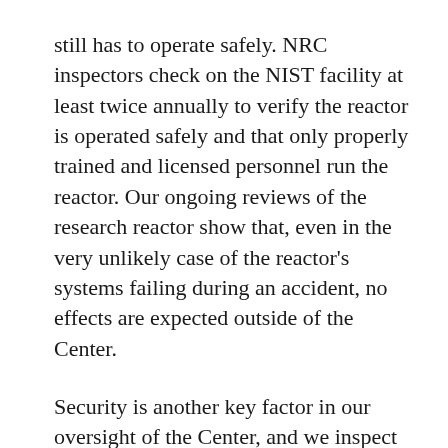still has to operate safely. NRC inspectors check on the NIST facility at least twice annually to verify the reactor is operated safely and that only properly trained and licensed personnel run the reactor. Our ongoing reviews of the research reactor show that, even in the very unlikely case of the reactor’s systems failing during an accident, no effects are expected outside of the Center.
Security is another key factor in our oversight of the Center, and we inspect the facility’s security at least once every two years. NIST must follow our requirements to properly control access to the Center. Our security rules also keep fresh reactor fuel under strict control